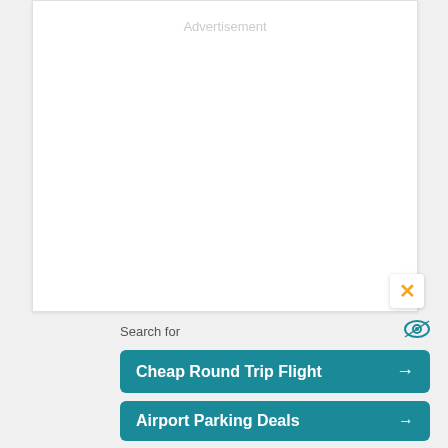[Figure (other): Empty white advertisement placeholder box with 'Advertisement' label at top center]
Search for
Cheap Round Trip Flight →
Airport Parking Deals →